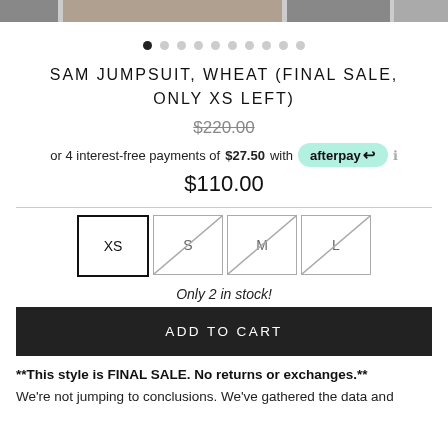[Figure (photo): Product image strip at the top showing partial images of a jumpsuit]
SAM JUMPSUIT, WHEAT (FINAL SALE, ONLY XS LEFT)
$220.00 (strikethrough original price)
or 4 interest-free payments of $27.50 with afterpay
$110.00
Size options: XS (selected), S (crossed out), M (crossed out), L (crossed out)
Only 2 in stock!
ADD TO CART
**This style is FINAL SALE. No returns or exchanges.**
We're not jumping to conclusions. We've gathered the data and